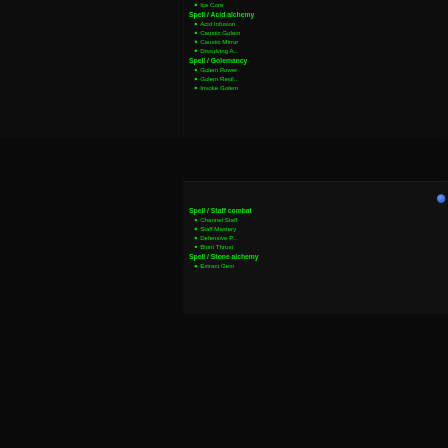Ice Core
Spell / Acid alchemy
Acid Infusion
Caustic Golem
Caustic Mirror
Dissolving A...
Spell / Golemancy
Golem Power
Golem Resil...
Invoke Golem
Spell / Staff combat
Channel Staff
Staff Mastery
Defensive P...
Blunt Thrust
Spell / Stone alchemy
Extract Gem